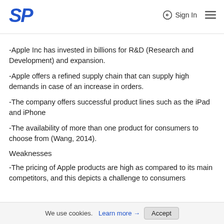SP  Sign In
-Apple Inc has invested in billions for R&D (Research and Development) and expansion.
-Apple offers a refined supply chain that can supply high demands in case of an increase in orders.
-The company offers successful product lines such as the iPad and iPhone
-The availability of more than one product for consumers to choose from (Wang, 2014).
Weaknesses
-The pricing of Apple products are high as compared to its main competitors, and this depicts a challenge to consumers
We use cookies. Learn more → Accept